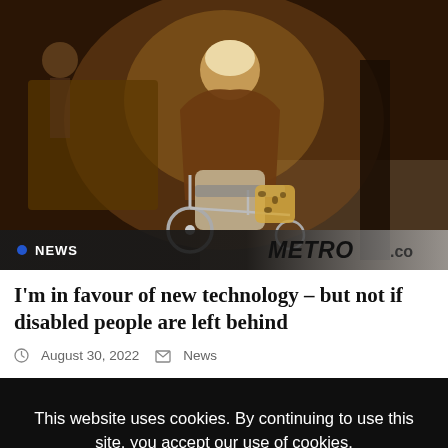[Figure (photo): A person in a wheelchair in a public space, wearing a brown coat with a leopard print bag, photographed at an indoor venue. NEWS label and METRO.co logo overlay at bottom.]
I’m in favour of new technology – but not if disabled people are left behind
August 30, 2022  News
This website uses cookies. By continuing to use this site, you accept our use of cookies.
ACCEPT